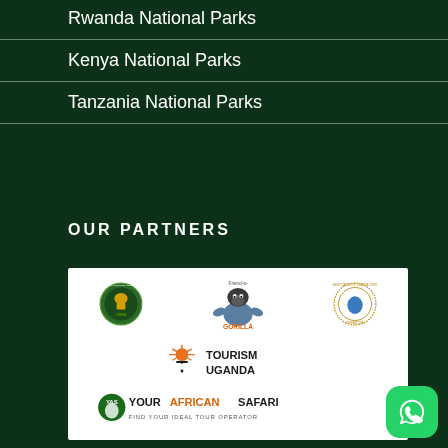Rwanda National Parks
Kenya National Parks
Tanzania National Parks
OUR PARTNERS
[Figure (logo): Partners logos panel showing: UWA (Uganda Wildlife Authority), Friend-a-Gorilla, Association of Uganda Tour Operators, Tourism Uganda, Your African Safari (Find your ideal tour operator)]
[Figure (logo): WhatsApp button - green rounded square with WhatsApp phone icon]